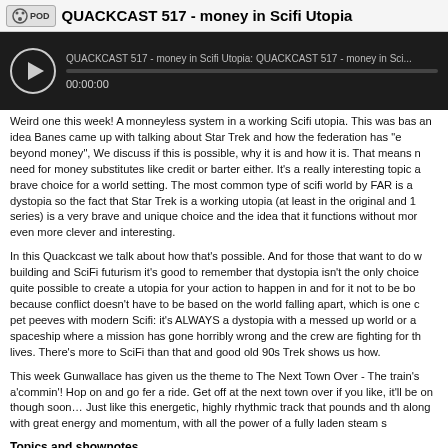QUACKCAST 517 - money in Scifi Utopia
[Figure (screenshot): Audio player showing QUACKCAST 517 - money in Scifi Utopia with play button and timestamp 00:00:00]
Weird one this week! A monneyless system in a working Scifi utopia. This was bas an idea Banes came up with talking about Star Trek and how the federation has "e beyond money", We discuss if this is possible, why it is and how it is. That means n need for money substitutes like credit or barter either. It's a really interesting topic a brave choice for a world setting. The most common type of scifi world by FAR is a dystopia so the fact that Star Trek is a working utopia (at least in the original and 1 series) is a very brave and unique choice and the idea that it functions without mor even more clever and interesting.
In this Quackcast we talk about how that's possible. And for those that want to do w building and SciFi futurism it's good to remember that dystopia isn't the only choice quite possible to create a utopia for your action to happen in and for it not to be bo because conflict doesn't have to be based on the world falling apart, which is one c pet peeves with modern Scifi: it's ALWAYS a dystopia with a messed up world or a spaceship where a mission has gone horribly wrong and the crew are fighting for th lives. There's more to SciFi than that and good old 90s Trek shows us how.
This week Gunwallace has given us the theme to The Next Town Over - The train's a'commin'! Hop on and go fer a ride. Get off at the next town over if you like, it'll be on though soon… Just like this energetic, highly rhythmic track that pounds and th along with great energy and momentum, with all the power of a fully laden steam s
Topics and shownotes
Links
Banes' newspost on Treckenomics! -
https://www.theduckwebcomics.com/news/2021/feb/03/star-trek-economics/